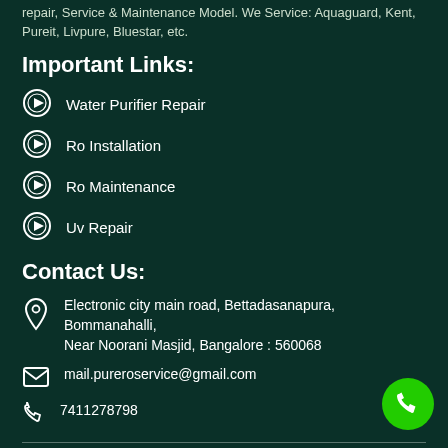repair, Service & Maintenance Model. We Service: Aquaguard, Kent, Pureit, Livpure, Bluestar, etc.
Important Links:
Water Purifier Repair
Ro Installation
Ro Maintenance
Uv Repair
Contact Us:
Electronic city main road, Bettadasanapura, Bommanahalli, Near Noorani Masjid, Bangalore : 560068
mail.pureroservice@gmail.com
7411278798
©2020. Pure Ro Service. All Rights Reserved.